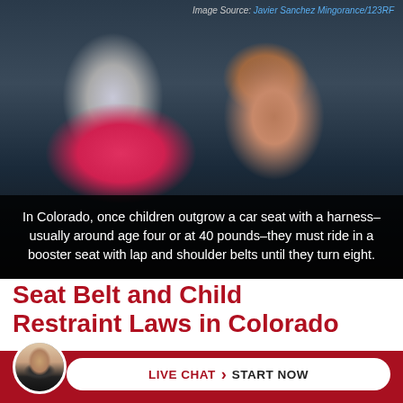[Figure (photo): Child in a car seat with hand raised, wearing pink jacket. Dark background. Image credit shown at top right.]
Image Source: Javier Sanchez Mingorance/123RF
In Colorado, once children outgrow a car seat with a harness–usually around age four or at 40 pounds–they must ride in a booster seat with lap and shoulder belts until they turn eight.
Seat Belt and Child Restraint Laws in Colorado
According to the Centers for Disease Control and Prevention, a deadly...
LIVE CHAT › START NOW